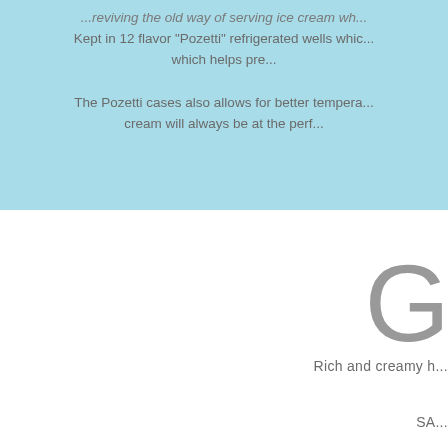...reviving the old way of serving ice cream wh... Kept in 12 flavor "Pozetti" refrigerated wells whic... which helps pre...
The Pozetti cases also allows for better tempera... cream will always be at the perf...
G
Rich and creamy h...
SA...